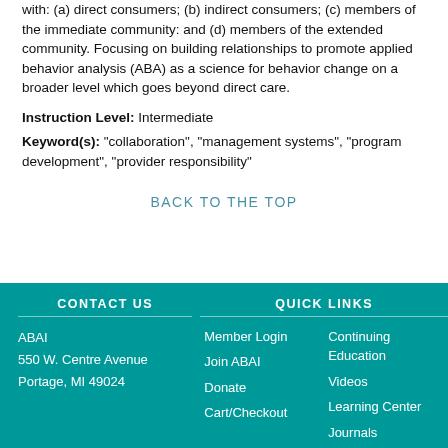with: (a) direct consumers; (b) indirect consumers; (c) members of the immediate community: and (d) members of the extended community. Focusing on building relationships to promote applied behavior analysis (ABA) as a science for behavior change on a broader level which goes beyond direct care.
Instruction Level: Intermediate
Keyword(s): "collaboration", "management systems", "program development", "provider responsibility"
BACK TO THE TOP
CONTACT US | QUICK LINKS | ABAI | 550 W. Centre Avenue | Portage, MI 49024 | Member Login | Join ABAI | Donate | Cart/Checkout | Continuing Education | Videos | Learning Center | Journals